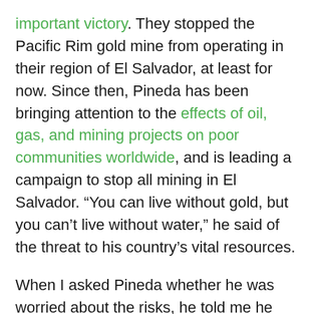important victory. They stopped the Pacific Rim gold mine from operating in their region of El Salvador, at least for now. Since then, Pineda has been bringing attention to the effects of oil, gas, and mining projects on poor communities worldwide, and is leading a campaign to stop all mining in El Salvador. “You can live without gold, but you can’t live without water,” he said of the threat to his country’s vital resources.
When I asked Pineda whether he was worried about the risks, he told me he was just doing what he had to do. “This is our responsibility as parents: to protect our land and water for our kids,” he said. “All of us are volunteers, but we’re still ready to give our lives for this.”